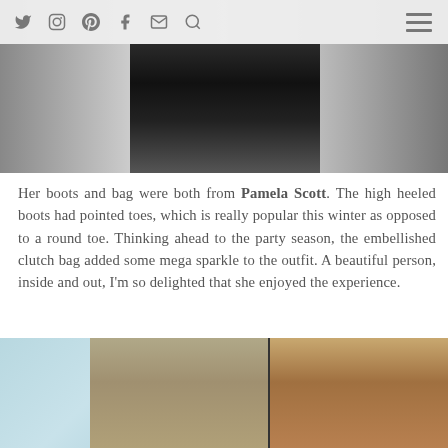navigation icons: twitter, instagram, pinterest, facebook, email, search; hamburger menu
[Figure (photo): Cropped photo showing person wearing black outfit, lower body visible]
Her boots and bag were both from Pamela Scott. The high heeled boots had pointed toes, which is really popular this winter as opposed to a round toe. Thinking ahead to the party season, the embellished clutch bag added some mega sparkle to the outfit. A beautiful person, inside and out, I'm so delighted that she enjoyed the experience.
[Figure (photo): Photo showing three women smiling, light blue/teal background on left, brown/wood panel on right]